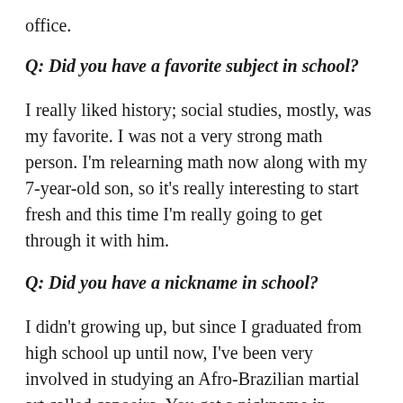office.
Q: Did you have a favorite subject in school?
I really liked history; social studies, mostly, was my favorite. I was not a very strong math person. I'm relearning math now along with my 7-year-old son, so it's really interesting to start fresh and this time I'm really going to get through it with him.
Q: Did you have a nickname in school?
I didn't growing up, but since I graduated from high school up until now, I've been very involved in studying an Afro-Brazilian martial art called capoeira. You get a nickname in